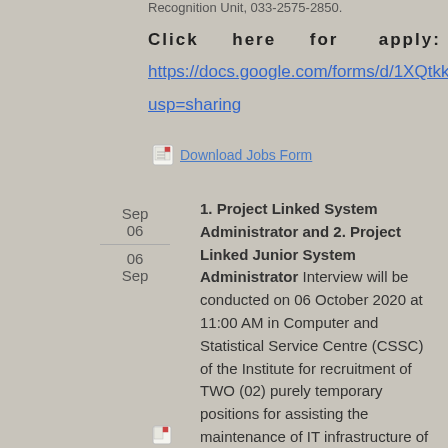Recognition Unit, 033-2575-2850.
Click here for apply:
https://docs.google.com/forms/d/1XQtkkv usp=sharing
Download Jobs Form
Sep 06
06 Sep
1. Project Linked System Administrator and 2. Project Linked Junior System Administrator Interview will be conducted on 06 October 2020 at 11:00 AM in Computer and Statistical Service Centre (CSSC) of the Institute for recruitment of TWO (02) purely temporary positions for assisting the maintenance of IT infrastructure of the Institute. The recruitment committee may consider for IN-PERSON/ONLINE INTERVIEW following COVID-19 guidelines.